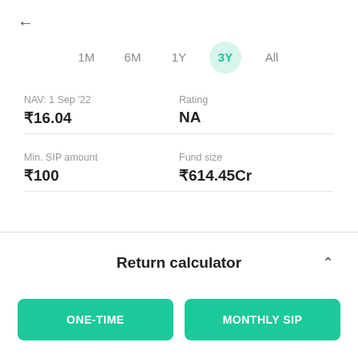←
1M
6M
1Y
3Y (active)
All
| NAV: 1 Sep '22 | Rating |
| --- | --- |
| ₹16.04 | NA |
| Min. SIP amount | Fund size |
| --- | --- |
| ₹100 | ₹614.45Cr |
Return calculator
ONE-TIME
MONTHLY SIP